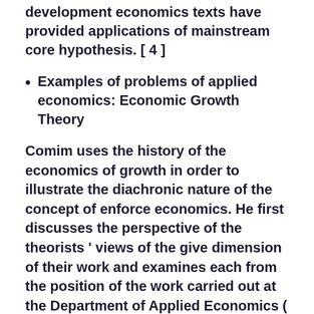development economics texts have provided applications of mainstream core hypothesis. [ 4 ]
Examples of problems of applied economics: Economic Growth Theory
Comim uses the history of the economics of growth in order to illustrate the diachronic nature of the concept of enforce economics. He first discusses the perspective of the theorists ' views of the give dimension of their work and examines each from the position of the work carried out at the Department of Applied Economics ( DAE ) at Cambridge University. He emphasizes the divergences concerning economists ' reason of the proper consumption of economic theory, divergences that might ultimately reveal the charm of clear-cut practices a far as applied